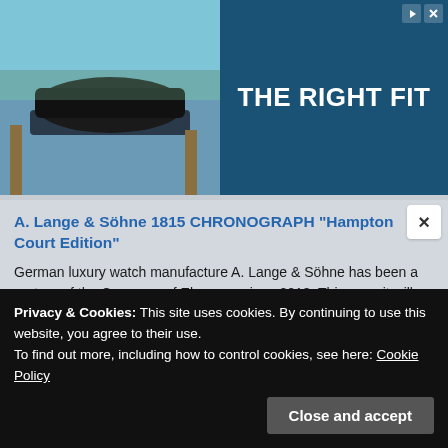[Figure (screenshot): RUSH-CO advertisement banner showing a boat with a cover on water, dark tarp covering, with text 'THE RIGHT FIT' on dark blue background and RUSH-CO logo in yellow oval]
A. Lange & Söhne 1815 CHRONOGRAPH "Hampton Court Edition"
German luxury watch manufacture A. Lange & Söhne has been a partner of the Concours of Elegance since 2018. This year, it will take place from 2 to 4 September in the grounds of Hampton Court [...]
Orient Neo Classic Sports
Orient has launched three Neo Classic Sports models to its sports collection. Neo Classic Sports are the latest models
Privacy & Cookies: This site uses cookies. By continuing to use this website, you agree to their use.
To find out more, including how to control cookies, see here: Cookie Policy
Close and accept